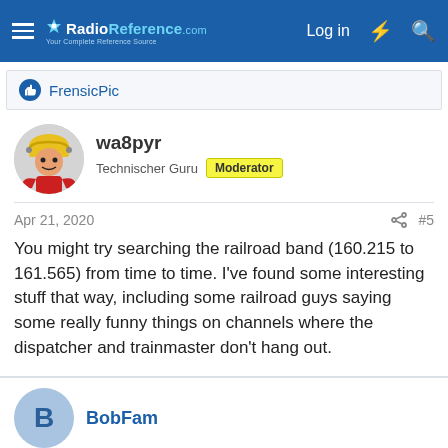RadioReference.com — Log in
FrensicPic
wa8pyr
Technischer Guru  Moderator
Apr 21, 2020  #5
You might try searching the railroad band (160.215 to 161.565) from time to time. I've found some interesting stuff that way, including some railroad guys saying some really funny things on channels where the dispatcher and trainmaster don't hang out.

Even better, just program the basic railroad channels (91 of them if I recall correctly) into a bank and scan that bank from time to time.
BobFam